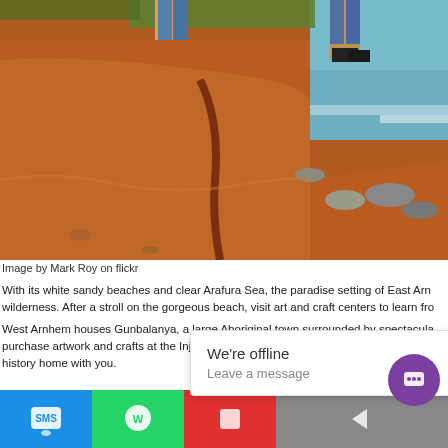[Figure (photo): Two people standing on a red laterite/dirt bank at the edge of a body of water with grass and trees in the background. The red earth bank is prominent with rocky outcrops along the waterline.]
Image by Mark Roy on flickr
With its white sandy beaches and clear Arafura Sea, the paradise setting of East Arn wilderness. After a stroll on the gorgeous beach, visit art and craft centers to learn fro
West Arnhem houses Gunbalanya, a large Aboriginal town surrounded by spectacula purchase artwork and crafts at the Injalak Art and Craft Centre. Experience how the i history home with you.
Ready for an Outback Adventure?
[Figure (screenshot): Bottom navigation bar with SMS (blue), WhatsApp (green), and red buttons, plus an offline chat popup saying 'We're offline / Leave a message' and a purple chat bubble icon.]